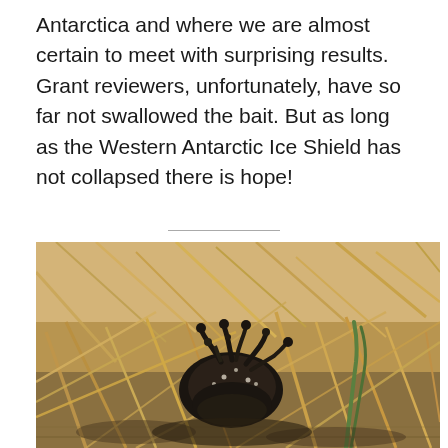Antarctica and where we are almost certain to meet with surprising results. Grant reviewers, unfortunately, have so far not swallowed the bait. But as long as the Western Antarctic Ice Shield has not collapsed there is hope!
[Figure (photo): Close-up macro photograph of a dark lichen or moss clump growing among dry, yellowish grass or sedge stalks on the ground, with a green grass blade visible on the right. The foreground subject is a dark, branching, coral-like lichen structure resting on dry vegetation.]